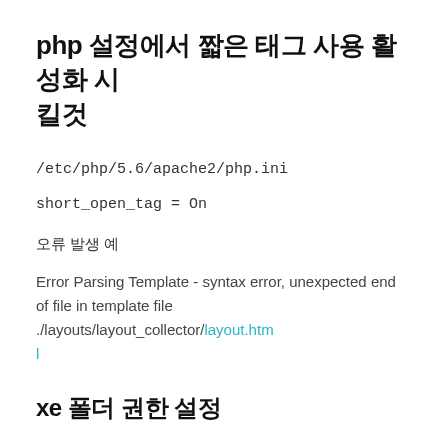php 설정에서 짧은 태그 사용 활성화 시킬것
/etc/php/5.6/apache2/php.ini
short_open_tag = On
오류 발생 예
Error Parsing Template - syntax error, unexpected end of file in template file ./layouts/layout_collector/layout.html
xe 폴더 권한 설정